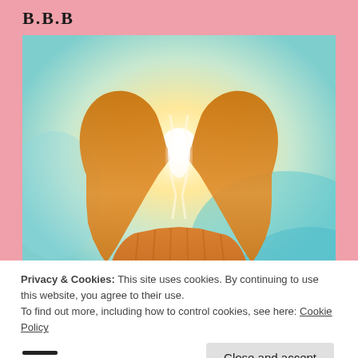B.B.B
[Figure (photo): A hand holding a broken paper heart shape against a bright sunlit background with teal/cyan sky. The heart is split in two pieces with light shining through the crack.]
Privacy & Cookies: This site uses cookies. By continuing to use this website, you agree to their use.
To find out more, including how to control cookies, see here: Cookie Policy
Close and accept